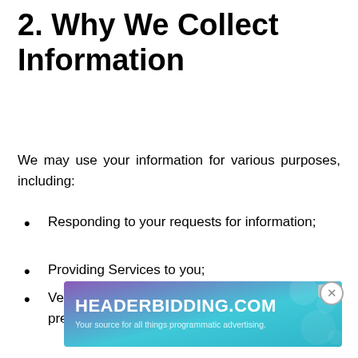2. Why We Collect Information
We may use your information for various purposes, including:
Responding to your requests for information;
Providing Services to you;
Verifying your identity and for fraud prevention;
[Figure (other): Advertisement banner for HEADERBIDDING.COM — Your source for all things programmatic advertising.]